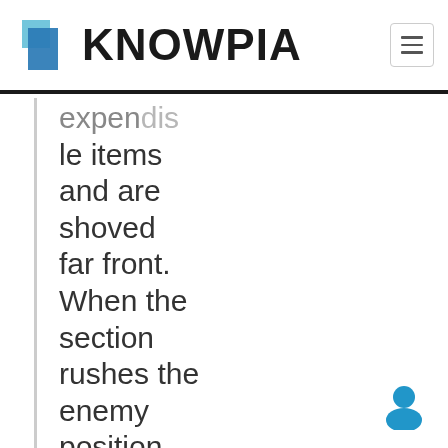KNOWPIA
expendable items and are shoved far front. When the section rushes the enemy position under cover of the LMG fire, one rifleman